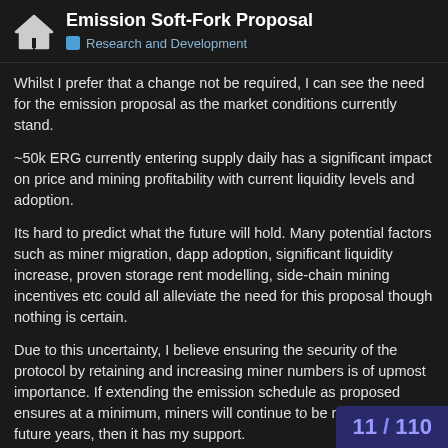Emission Soft-Fork Proposal — Research and Development
Whilst I prefer that a change not be required, I can see the need for the emission proposal as the market conditions currently stand.
~50k ERG currently entering supply daily has a significant impact on price and mining profitability with current liquidity levels and adoption.
Its hard to predict what the future will hold. Many potential factors such as miner migration, dapp adoption, significant liquidity increase, proven storage rent modelling, side-chain mining incentives etc could all alleviate the need for this proposal though nothing is certain.
Due to this uncertainty, I believe ensuring the security of the protocol by retaining and increasing miner numbers is of upmost importance. If extending the emission schedule as proposed ensures at a minimum, miners will continue to be rewarded in future years, then it has my support.
11 / 110